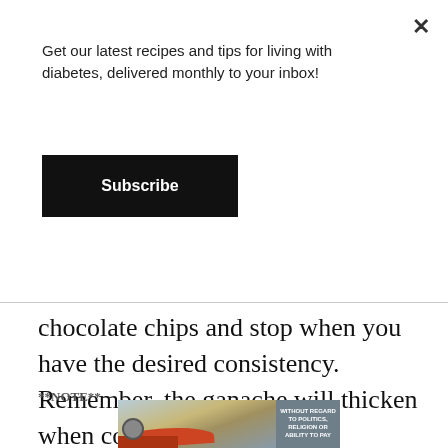Get our latest recipes and tips for living with diabetes, delivered monthly to your inbox!
Subscribe
chocolate chips and stop when you have the desired consistency. Remember, the ganache will thicken when cooled.
**NOTE**
[Figure (photo): Advertisement banner showing an airplane being loaded with cargo, with text overlay reading WITHOUT REGARD TO POLITICS, RELIGION OR ABILITY TO PAY]